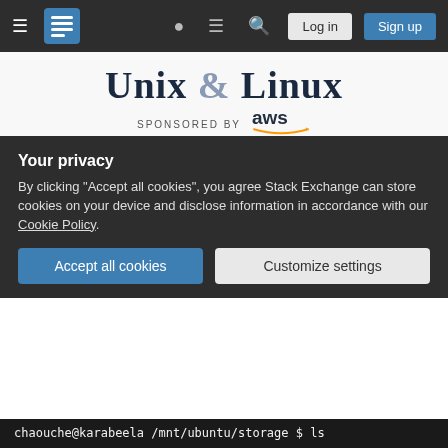Unix & Linux — Navigation bar with Log in and Sign up
[Figure (logo): Unix & Linux Stack Exchange site header with AWS sponsorship logo]
Ask Question
How do you create a file with an empty name?
Asked 9 years, 1 month ago   Modified 9 years, 1 month ago   Viewed 4k times
Your privacy
By clicking "Accept all cookies", you agree Stack Exchange can store cookies on your device and disclose information in accordance with our Cookie Policy.
Accept all cookies   Customize settings
chaouche@karabeela /mnt/ubuntu/storage $ ls